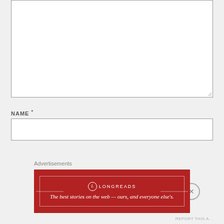[Figure (screenshot): Large empty textarea input box with resize handle at bottom right]
NAME *
[Figure (screenshot): Empty text input field for Name]
EMAIL *
[Figure (screenshot): Empty text input field for Email]
Advertisements
[Figure (screenshot): Longreads advertisement banner: red background with logo and tagline 'The best stories on the web — ours, and everyone else's.']
REPORT THIS A...